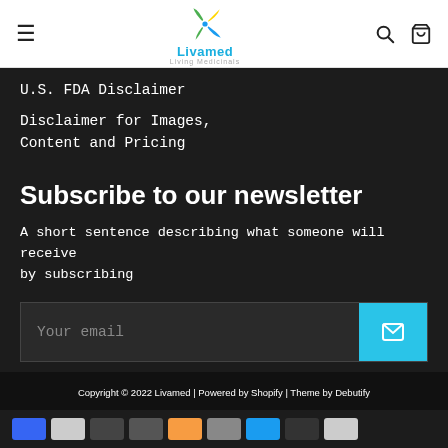Livamed — Living Medicinals (navigation bar with hamburger menu, logo, search, and cart icons)
U.S. FDA Disclaimer
Disclaimer for Images, Content and Pricing
Subscribe to our newsletter
A short sentence describing what someone will receive by subscribing
Your email
Copyright © 2022 Livamed | Powered by Shopify | Theme by Debutify